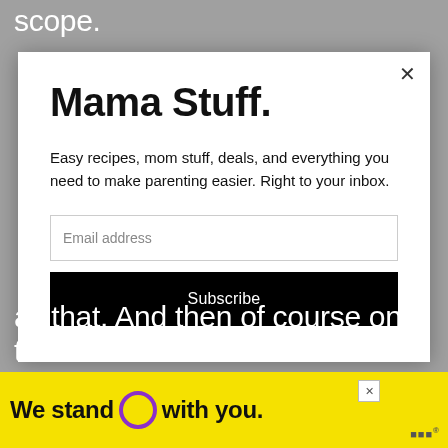scope.
[Figure (screenshot): Email newsletter signup modal with title 'Mama Stuff.', description text, email address field, and Subscribe button]
all that. And then of course on the
[Figure (infographic): Yellow advertisement banner with text 'We stand O with you.' where O is a purple circle, and a logo on the right]